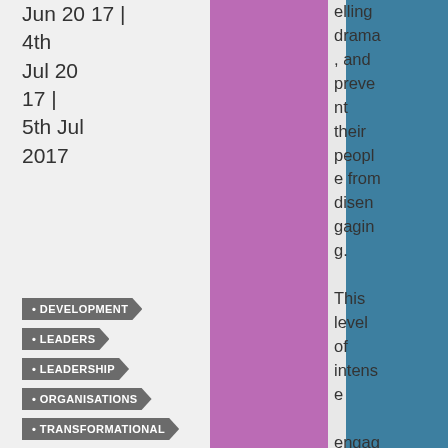Jun 20 17 | 4th Jul 20 17 | 5th Jul 2017
elling drama, and prevent their people from disengaging.

This level of intense engage...
DEVELOPMENT
LEADERS
LEADERSHIP
ORGANISATIONS
TRANSFORMATIONAL